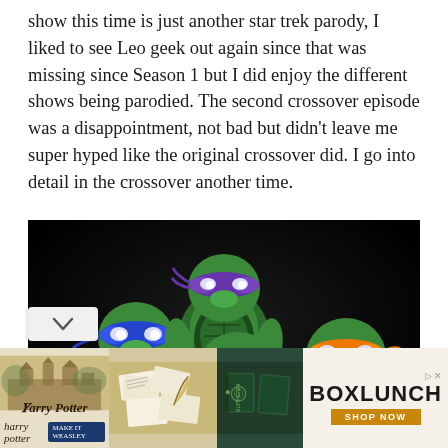show this time is just another star trek parody, I liked to see Leo geek out again since that was missing since Season 1 but I did enjoy the different shows being parodied. The second crossover episode was a disappointment, not bad but didn't leave me super hyped like the original crossover did. I go into detail in the crossover another time.
[Figure (photo): Screenshot from Teenage Mutant Ninja Turtles animated show showing four turtle characters against a dark background. Blue-masked turtle on left, purple-masked turtle at top center, red-masked turtle at bottom center, orange-masked turtle on right.]
[Figure (screenshot): Advertisement bar at the bottom showing Harry Potter merchandise ad on left with castle imagery and HP logos, letter/stationery items in center-left, dark green book covers in center-right, and BoxLunch logo with 'SHOP NOW' button on the right.]